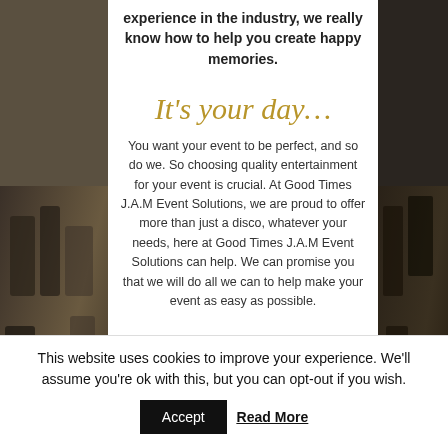[Figure (photo): Dark background photo on left side showing musical/event equipment or clothing in dark tones]
[Figure (photo): Dark background photo on right side showing similar dark toned event imagery]
experience in the industry, we really know how to help you create happy memories.
It's your day…
You want your event to be perfect, and so do we. So choosing quality entertainment for your event is crucial. At Good Times J.A.M Event Solutions, we are proud to offer more than just a disco, whatever your needs, here at Good Times J.A.M Event Solutions can help. We can promise you that we will do all we can to help make your event as easy as possible.
This website uses cookies to improve your experience. We'll assume you're ok with this, but you can opt-out if you wish.
Accept  Read More